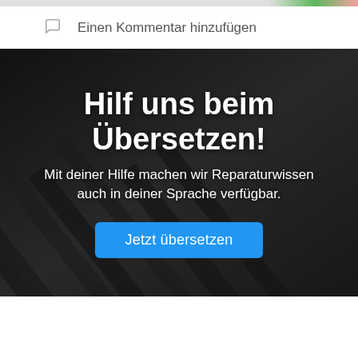Einen Kommentar hinzufügen
[Figure (photo): Dark background with black pencils arranged diagonally, overlaid with white German text 'Hilf uns beim Übersetzen!' and subtitle 'Mit deiner Hilfe machen wir Reparaturwissen auch in deiner Sprache verfügbar.' and a blue button 'Jetzt übersetzen']